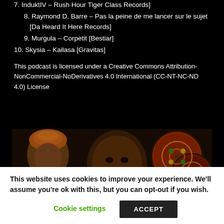7. InduktIV – Rush Hour Tiger Class Records]
8. Raymond D. Barre – Pas la peine de me lancer sur le sujet [Da Heard It Here Records]
9. Murgula – Corpetit [Bestiar]
10. Skysia – Kailasa [Gravitas]
This podcast is licensed under a Creative Commons Attribution-NonCommercial-NoDerivatives 4.0 International (CC-NT-NC-ND 4.0) License
[Figure (photo): A smiling man wearing an orange turban holding decorated cymbals/percussion instruments, with another person partially visible on the left.]
This website uses cookies to improve your experience. We'll assume you're ok with this, but you can opt-out if you wish.
Cookie settings   ACCEPT